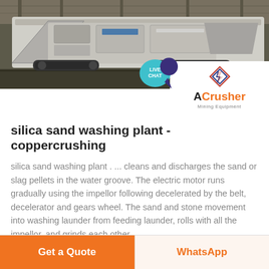[Figure (photo): Industrial mining/crushing machine (mobile crusher) photographed inside a large industrial facility with concrete floor. ACrusher Mining Equipment logo overlay in bottom-right corner. Live Chat bubble in teal color overlaid top-right area.]
silica sand washing plant - coppercrushing
silica sand washing plant . ... cleans and discharges the sand or slag pellets in the water groove. The electric motor runs gradually using the impellor following decelerated by the belt, decelerator and gears wheel. The sand and stone movement into washing launder from feeding launder, rolls with all the impellor, and grinds each other. ...